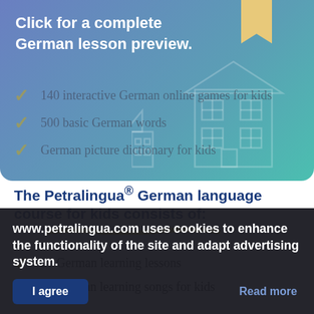[Figure (illustration): Blue-teal gradient banner with white text 'Click for a complete German lesson preview.' and a bookmark shape in tan/gold at top right, plus faint house/building outlines in the background.]
The Petralingua® German language course for kids consists of:
[Figure (illustration): Yellow hand-drawn underline/highlighter stroke beneath the title.]
21 German learning lessons
11 German learning songs for kids
140 interactive German online games for kids
500 basic German words
German picture dictionary for kids
www.petralingua.com uses cookies to enhance the functionality of the site and adapt advertising system.